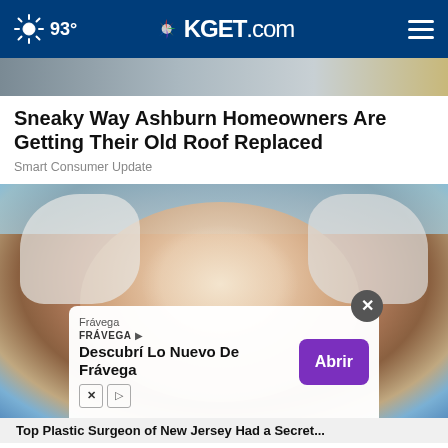93° KGET.com
[Figure (photo): Partial top image of an outdoor scene with muted tones]
Sneaky Way Ashburn Homeowners Are Getting Their Old Roof Replaced
Smart Consumer Update
[Figure (photo): Close-up photo of a woman with a facial treatment mask, eyes closed, with a towel around her head. An advertisement overlay at the bottom shows Frávega branding with text 'Descubrí Lo Nuevo De Frávega' and an 'Abrir' button. A close (x) button is visible.]
Top Plastic Surgeon of New Jersey Had a Secret...